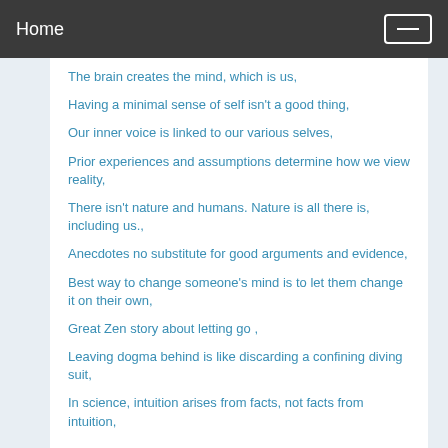Home
The brain creates the mind, which is us,
Having a minimal sense of self isn't a good thing,
Our inner voice is linked to our various selves,
Prior experiences and assumptions determine how we view reality,
There isn't nature and humans. Nature is all there is, including us.,
Anecdotes no substitute for good arguments and evidence,
Best way to change someone's mind is to let them change it on their own,
Great Zen story about letting go ,
Leaving dogma behind is like discarding a confining diving suit,
In science, intuition arises from facts, not facts from intuition,